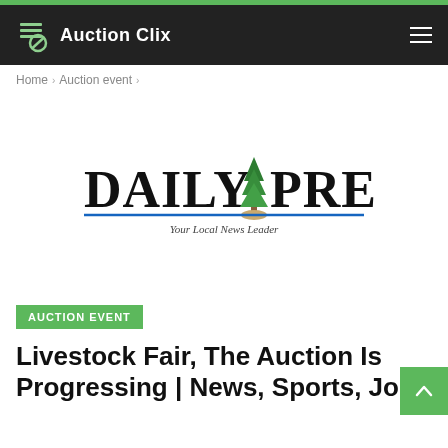Auction Clix
Home > Auction event >
[Figure (logo): Daily Press logo — 'DAILY PRESS' in large serif bold text with a green pine tree replacing the 'T', blue underline, and tagline 'Your Local News Leader' in italic below]
AUCTION EVENT
Livestock Fair, The Auction Is Progressing | News, Sports, Jobs